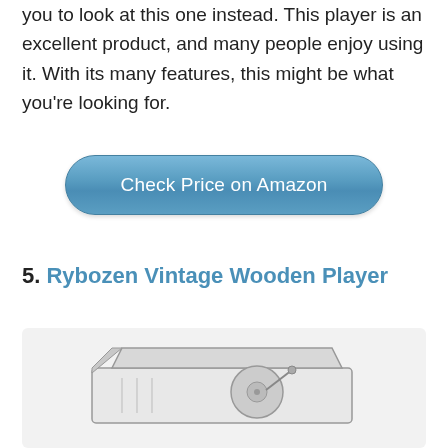you to look at this one instead. This player is an excellent product, and many people enjoy using it. With its many features, this might be what you're looking for.
[Figure (other): Blue rounded rectangle button labeled 'Check Price on Amazon']
5. Rybozen Vintage Wooden Player
[Figure (photo): Product image of Rybozen Vintage Wooden Player on light gray background, showing partial view of a wooden record player]